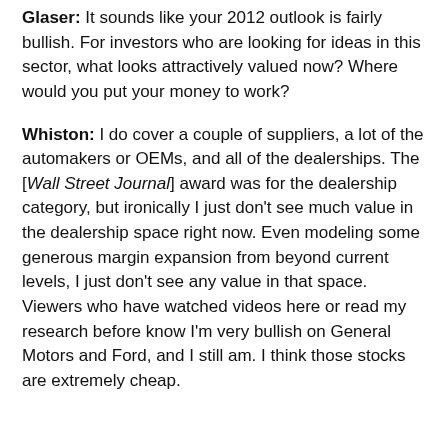Glaser: It sounds like your 2012 outlook is fairly bullish. For investors who are looking for ideas in this sector, what looks attractively valued now? Where would you put your money to work?
Whiston: I do cover a couple of suppliers, a lot of the automakers or OEMs, and all of the dealerships. The [Wall Street Journal] award was for the dealership category, but ironically I just don't see much value in the dealership space right now. Even modeling some generous margin expansion from beyond current levels, I just don't see any value in that space. Viewers who have watched videos here or read my research before know I'm very bullish on General Motors and Ford, and I still am. I think those stocks are extremely cheap.